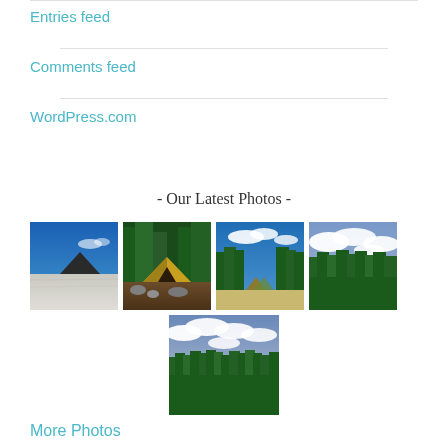Entries feed
Comments feed
WordPress.com
- Our Latest Photos -
[Figure (photo): Grid of 5 outdoor nature photos: salt flats, camping tent in forest, forest clearing with camping gear, dense evergreen forest with clouds, and forested hillside with clouds.]
More Photos